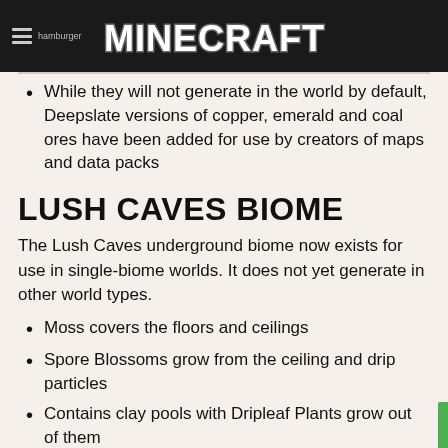MINECRAFT
While they will not generate in the world by default, Deepslate versions of copper, emerald and coal ores have been added for use by creators of maps and data packs
LUSH CAVES BIOME
The Lush Caves underground biome now exists for use in single-biome worlds. It does not yet generate in other world types.
Moss covers the floors and ceilings
Spore Blossoms grow from the ceiling and drip particles
Contains clay pools with Dripleaf Plants grow out of them
Contains Azalea Bushes and Flowering Azalea